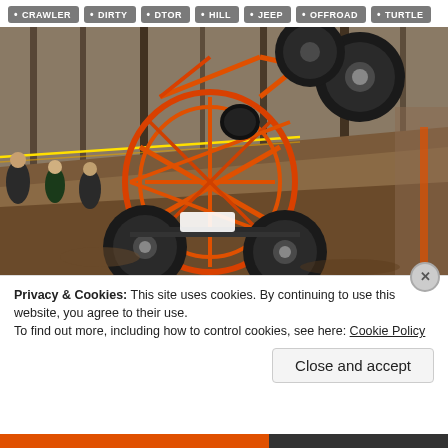CRAWLER
DIRTY
DTOR
HILL
JEEP
OFFROAD
TURTLE
[Figure (photo): An orange tube-frame off-road buggy/rock crawler climbing a steep wooded hillside at an off-road event, with the front wheels lifted high in the air. Spectators line the course behind yellow tape.]
Privacy & Cookies: This site uses cookies. By continuing to use this website, you agree to their use.
To find out more, including how to control cookies, see here: Cookie Policy
Close and accept